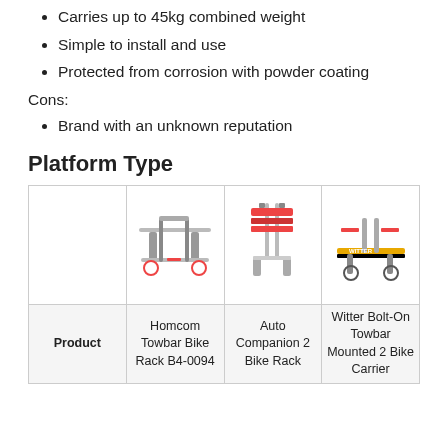Carries up to 45kg combined weight
Simple to install and use
Protected from corrosion with powder coating
Cons:
Brand with an unknown reputation
Platform Type
| Product | Homcom Towbar Bike Rack B4-0094 | Auto Companion 2 Bike Rack | Witter Bolt-On Towbar Mounted 2 Bike Carrier |
| --- | --- | --- | --- |
| [image] | [image] | [image] | [image] |